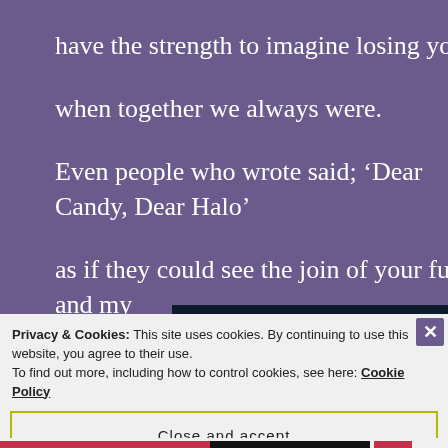have the strength to imagine losing you

when together we always were.

Even people who wrote said; ‘Dear Candy, Dear Halo’

as if they could see the join of your fur and my
[Figure (screenshot): Dark navy blue background image block, partially visible, with a red rectangle element and a circular grey/white element visible at right.]
Privacy & Cookies: This site uses cookies. By continuing to use this website, you agree to their use.
To find out more, including how to control cookies, see here: Cookie Policy
Close and accept